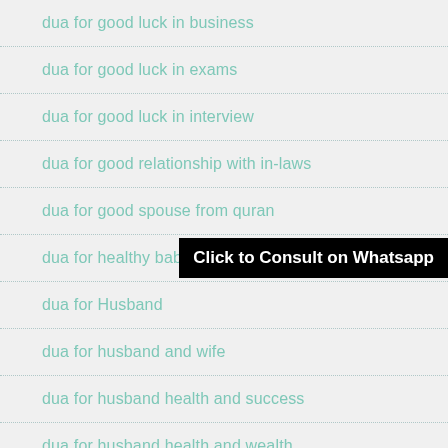dua for good luck in business
dua for good luck in exams
dua for good luck in interview
dua for good relationship with in-laws
dua for good spouse from quran
dua for healthy baby
[Figure (other): Black banner with white bold text: Click to Consult on Whatsapp]
dua for Husband
dua for husband and wife
dua for husband health and success
dua for husband health and wealth